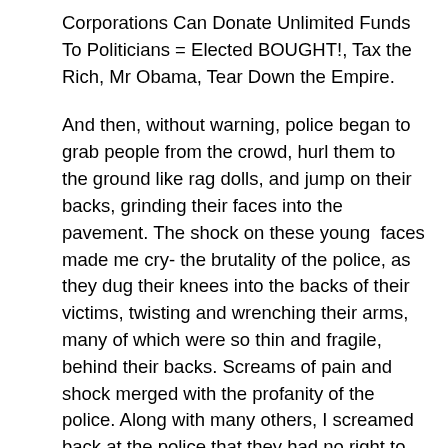Corporations Can Donate Unlimited Funds To Politicians = Elected BOUGHT!, Tax the Rich, Mr Obama, Tear Down the Empire.
And then, without warning, police began to grab people from the crowd, hurl them to the ground like rag dolls, and jump on their backs, grinding their faces into the pavement. The shock on these young  faces made me cry- the brutality of the police, as they dug their knees into the backs of their victims, twisting and wrenching their arms, many of which were so thin and fragile, behind their backs. Screams of pain and shock merged with the profanity of the police. Along with many others, I screamed back at the police that they had no right to attack us, that we weren't doing anything wrong, but we were pushed and punched in our chests as they yelled, “Stay back”, while the assaults intensified. The men with guns literally stepped on the necks of their victims on the ground, people whose collective crime was simply being there.